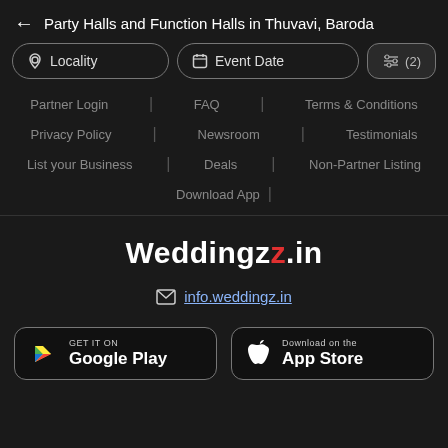← Party Halls and Function Halls in Thuvavi, Baroda
Locality | Event Date | (2) filters
Partner Login | FAQ | Terms & Conditions
Privacy Policy | Newsroom | Testimonials
List your Business | Deals | Non-Partner Listing
Download App
Weddingz.in
info.weddingz.in
GET IT ON Google Play
Download on the App Store